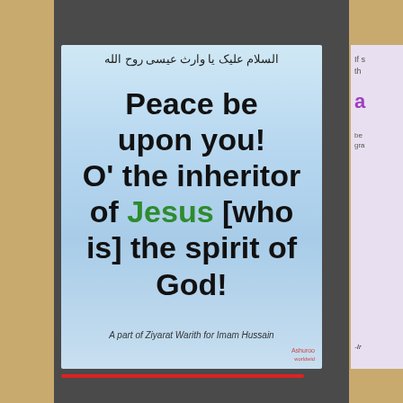[Figure (illustration): Religious card with sky background showing Arabic text at top followed by large bold English text: 'Peace be upon you! O' the inheritor of Jesus [who is] the spirit of God!' with 'Jesus' in green. Caption reads 'A part of Ziyarat Warith for Imam Hussain'. Partially visible second card on the right edge. Set against a dark gray panel on a wood-textured background. Red line at bottom.]